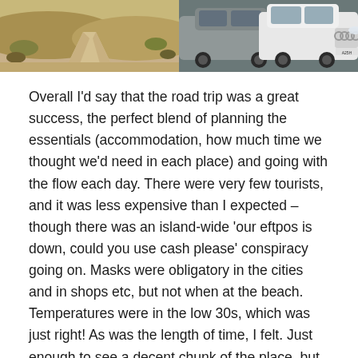[Figure (photo): Two side-by-side photos: left shows a dusty dirt road through dry scrubland; right shows white Audi cars parked closely together.]
Overall I'd say that the road trip was a great success, the perfect blend of planning the essentials (accommodation, how much time we thought we'd need in each place) and going with the flow each day. There were very few tourists, and it was less expensive than I expected – though there was an island-wide 'our eftpos is down, could you use cash please' conspiracy going on. Masks were obligatory in the cities and in shops etc, but not when at the beach. Temperatures were in the low 30s, which was just right! As was the length of time, I felt. Just enough to see a decent chunk of the place, but moving on to a new adventure before I started getting a little tired of beaching every day.